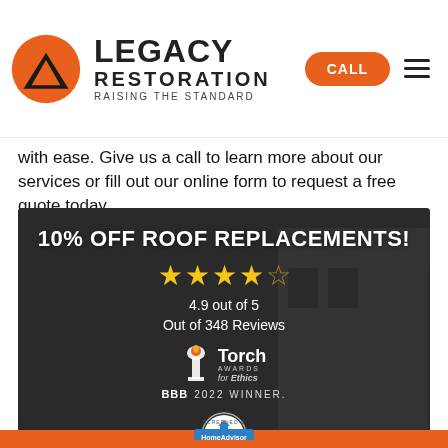[Figure (logo): Legacy Restoration logo with orange/black triangle icon and text LEGACY RESTORATION RAISING THE STANDARD, with CALL button and hamburger menu]
with ease. Give us a call to learn more about our services or fill out our online form to request a free quote today.
[Figure (infographic): Dark promotional banner with text: 10% OFF ROOF REPLACEMENTS!, 4.9 star rating (4 full stars + 1 half star), 4.9 out of 5, Out of 348 Reviews, BBB Torch Awards for Ethics 2022 Winner badge, HomeAdvisor Screened & Approved badge]